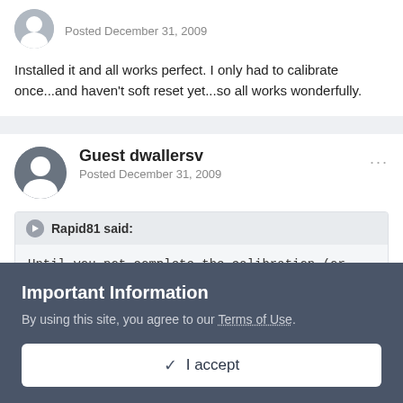Posted December 31, 2009
Installed it and all works perfect. I only had to calibrate once...and haven't soft reset yet...so all works wonderfully.
Guest dwallersv
Posted December 31, 2009
Rapid81 said:
Until you not complete the calibration (or after a soft reset) it will appear at start.

The bubble compass is a little bit difficult. :) But I'm thinking
Important Information
By using this site, you agree to our Terms of Use.
✓  I accept